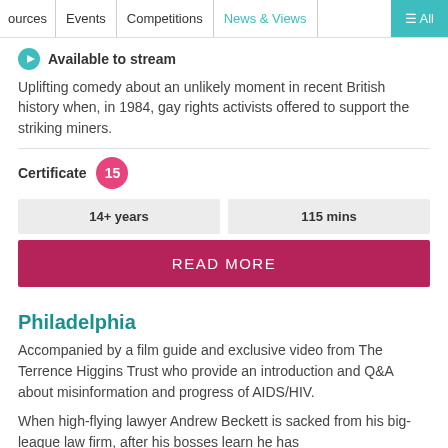ources | Events | Competitions | News & Views | ≡ All
Available to stream
Uplifting comedy about an unlikely moment in recent British history when, in 1984, gay rights activists offered to support the striking miners.
Certificate 15
14+ years
115 mins
READ MORE
Philadelphia
Accompanied by a film guide and exclusive video from The Terrence Higgins Trust who provide an introduction and Q&A about misinformation and progress of AIDS/HIV.
When high-flying lawyer Andrew Beckett is sacked from his big-league law firm, after his bosses learn he has